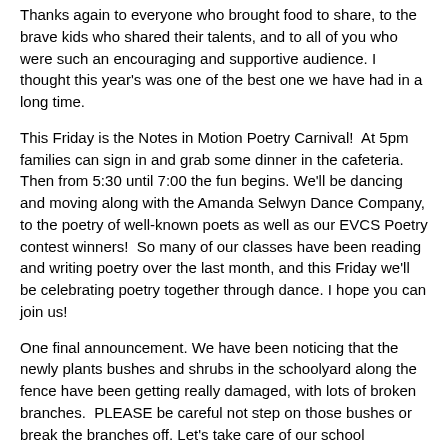Thanks again to everyone who brought food to share, to the brave kids who shared their talents, and to all of you who were such an encouraging and supportive audience. I thought this year's was one of the best one we have had in a long time.
This Friday is the Notes in Motion Poetry Carnival!  At 5pm families can sign in and grab some dinner in the cafeteria.  Then from 5:30 until 7:00 the fun begins. We'll be dancing and moving along with the Amanda Selwyn Dance Company, to the poetry of well-known poets as well as our EVCS Poetry contest winners!  So many of our classes have been reading and writing poetry over the last month, and this Friday we'll be celebrating poetry together through dance. I hope you can join us!
One final announcement. We have been noticing that the newly plants bushes and shrubs in the schoolyard along the fence have been getting really damaged, with lots of broken branches.  PLEASE be careful not step on those bushes or break the branches off. Let's take care of our school environment!
Thanks as always to the SWMM House Band, and thanks to everyone who sang loud and proud this morning.
Have a great day and a great week.